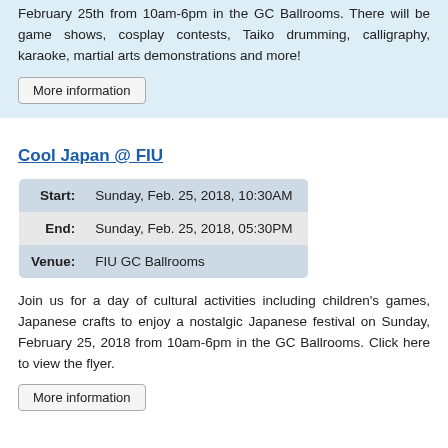February 25th from 10am-6pm in the GC Ballrooms. There will be game shows, cosplay contests, Taiko drumming, calligraphy, karaoke, martial arts demonstrations and more!
More information
Cool Japan @ FIU
|  |  |
| --- | --- |
| Start: | Sunday, Feb. 25, 2018, 10:30AM |
| End: | Sunday, Feb. 25, 2018, 05:30PM |
| Venue: | FIU GC Ballrooms |
Join us for a day of cultural activities including children's games, Japanese crafts to enjoy a nostalgic Japanese festival on Sunday, February 25, 2018 from 10am-6pm in the GC Ballrooms. Click here to view the flyer.
More information